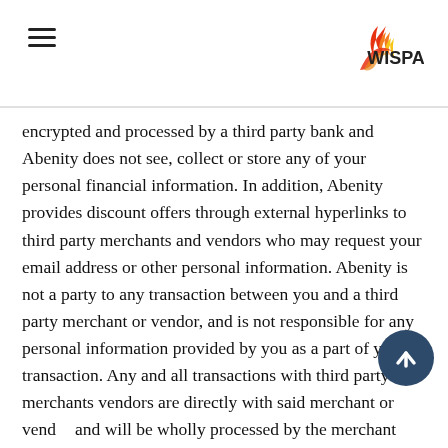WISPA
encrypted and processed by a third party bank and Abenity does not see, collect or store any of your personal financial information. In addition, Abenity provides discount offers through external hyperlinks to third party merchants and vendors who may request your email address or other personal information. Abenity is not a party to any transaction between you and a third party merchant or vendor, and is not responsible for any personal information provided by you as a part of your transaction. Any and all transactions with third party merchants vendors are directly with said merchant or vendor and will be wholly processed by the merchant or vendor, not Abenity.
All issues and disputes with a merchant or vendor